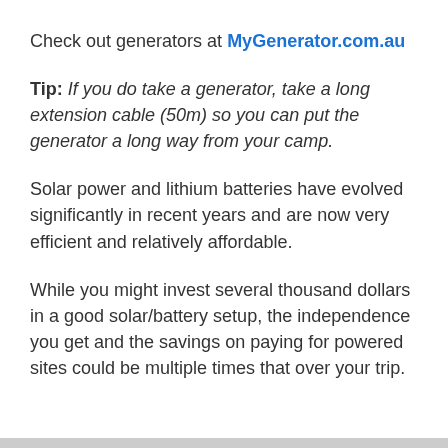Check out generators at MyGenerator.com.au
Tip: If you do take a generator, take a long extension cable (50m) so you can put the generator a long way from your camp.
Solar power and lithium batteries have evolved significantly in recent years and are now very efficient and relatively affordable.
While you might invest several thousand dollars in a good solar/battery setup, the independence you get and the savings on paying for powered sites could be multiple times that over your trip.